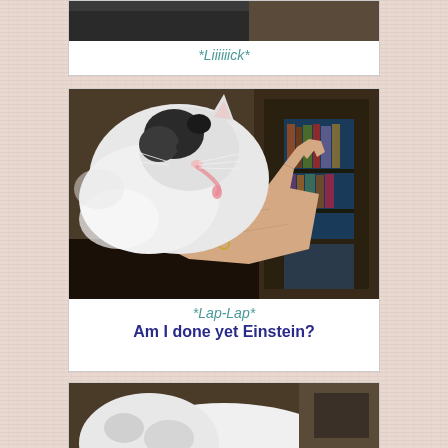*Liiiiiick*
[Figure (photo): A black and white cat licking a human hand/palm, indoor setting with bookshelves visible in background]
*Lap-Lap*
Am I done yet Einstein?
[Figure (photo): Close-up of a white and grey cat, partial view from behind/side]